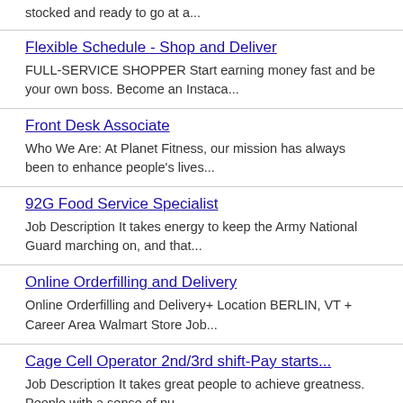stocked and ready to go at a...
Flexible Schedule - Shop and Deliver
FULL-SERVICE SHOPPER Start earning money fast and be your own boss. Become an Instaca...
Front Desk Associate
Who We Are: At Planet Fitness, our mission has always been to enhance people's lives...
92G Food Service Specialist
Job Description It takes energy to keep the Army National Guard marching on, and that...
Online Orderfilling and Delivery
Online Orderfilling and Delivery+ Location BERLIN, VT + Career Area Walmart Store Job...
Cage Cell Operator 2nd/3rd shift-Pay starts...
Job Description It takes great people to achieve greatness. People with a sense of pu...